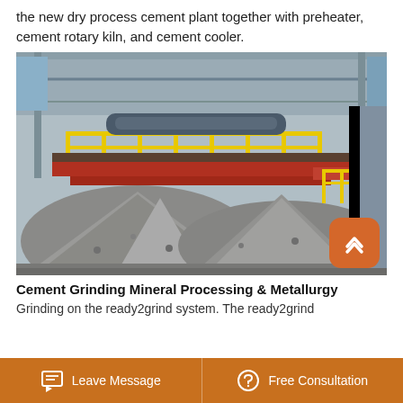the new dry process cement plant together with preheater, cement rotary kiln, and cement cooler.
[Figure (photo): Industrial cement plant interior showing large piles of grey crushed stone/clinker material under a steel platform structure with yellow safety railings. A scroll-to-top button (orange rounded square with up chevron) is overlaid in the bottom-right corner.]
Cement Grinding Mineral Processing & Metallurgy
Grinding on the ready2grind system. The ready2grind
Leave Message   Free Consultation